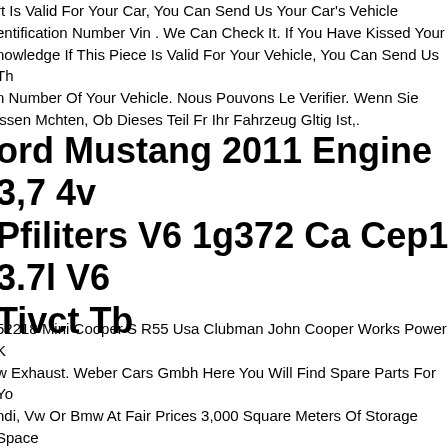rt Is Valid For Your Car, You Can Send Us Your Car's Vehicle entification Number Vin . We Can Check It. If You Have Kissed Your nowledge If This Piece Is Valid For Your Vehicle, You Can Send Us Th n Number Of Your Vehicle. Nous Pouvons Le Verifier. Wenn Sie issen Mchten, Ob Dieses Teil Fr Ihr Fahrzeug Gltig Ist,.
ord Mustang 2011 Engine 3,7 4v Pfiliters V6 1g372 Ca Cep1 3.7l V6 Tivct Tb
52218 Mini Cooper S R55 Usa Clubman John Cooper Works Power K w Exhaust. Weber Cars Gmbh Here You Will Find Spare Parts For Yo ndi, Vw Or Bmw At Fair Prices 3,000 Square Meters Of Storage Space ipment National & International We Work With The Following rtners Worldwide Payment Methods Mini Clubman R55 (usa) Jcw nning Kit New & Original Mini Clubman R55 Usa Cooper S (type Cod